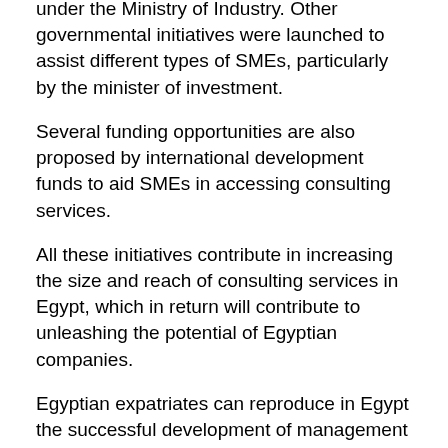under the Ministry of Industry. Other governmental initiatives were launched to assist different types of SMEs, particularly by the minister of investment.
Several funding opportunities are also proposed by international development funds to aid SMEs in accessing consulting services.
All these initiatives contribute in increasing the size and reach of consulting services in Egypt, which in return will contribute to unleashing the potential of Egyptian companies.
Egyptian expatriates can reproduce in Egypt the successful development of management consulting services in GCC countries, creating jobs and generating export revenues.
Dubai became an international consulting hub, serving GCC countries and beyond, reaching African and South Asian companies. The development of the GCC region in the last 20 years required large numbers of consultants.